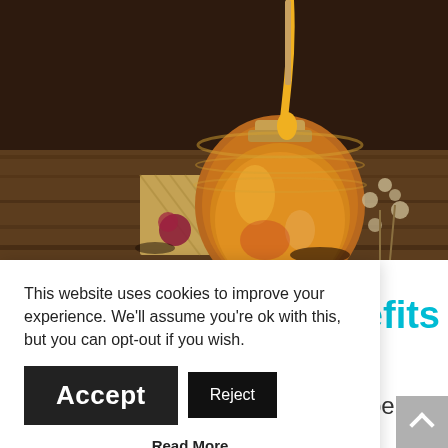[Figure (photo): A glass jar of honey with honey dripping from a dipper above it, surrounded by dried flowers and burlap on a wooden surface.]
nefits
properties
and
irritation of the skin
This website uses cookies to improve your experience. We'll assume you're ok with this, but you can opt-out if you wish.
Accept
Reject
Read More